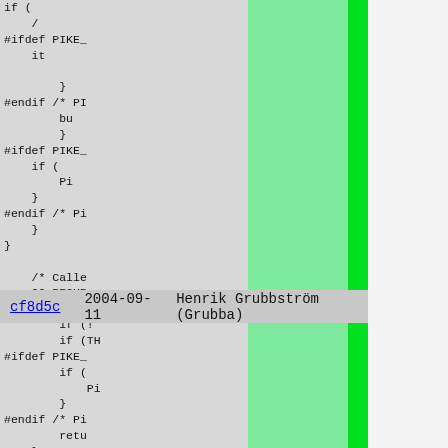[Figure (screenshot): Source code blame/annotate view showing git blame output. Left columns show commit hash (cf8d5c, linked), date (2004-09-11), and author (Henrik Grubbström (Grubba)) highlighted in light-green. Right side shows C code with #ifdef PIKE_, #endif, if(), break, return statements, partially visible. A bright green vertical stripe separates the metadata from the code. The metadata row is highlighted.]
cf8d5c   2004-09-11   Henrik Grubbström (Grubba)
if (
    /
#ifdef PIKE_
    it

        }
#endif /* PI
        bu
        }
#ifdef PIKE_
    if (
        Pi
    }
#endif /* P
    }
}

    /* Calle
    GC_RECUR
    {
        if (!
        if (TH
#ifdef PIKE_
        if (
            Pi
        }
#endif /* Pi
        retu
    }
#ifdef PIKE_